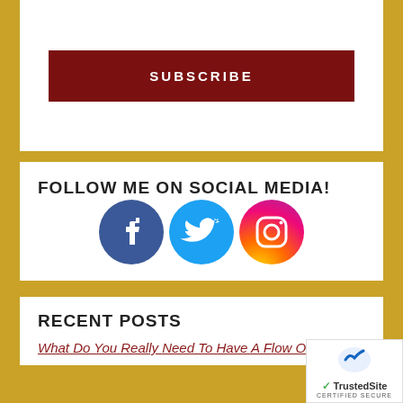[Figure (other): Dark red Subscribe button]
FOLLOW ME ON SOCIAL MEDIA!
[Figure (other): Social media icons: Facebook, Twitter, Instagram]
RECENT POSTS
What Do You Really Need To Have A Flow Of Money?